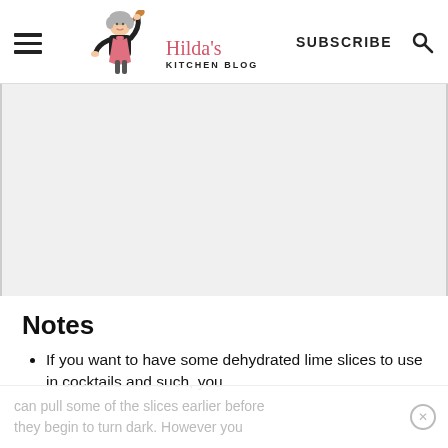Hilda's Kitchen Blog | SUBSCRIBE
[Figure (illustration): Hilda's Kitchen Blog logo — illustration of a grey-haired woman in a pink apron holding a wooden spoon, with the script text 'Hilda's' and 'KITCHEN BLOG' beside her]
Notes
If you want to have some dehydrated lime slices to use in cocktails and such, you
can pull some of the slices earlier before they begin to turn dark. However you